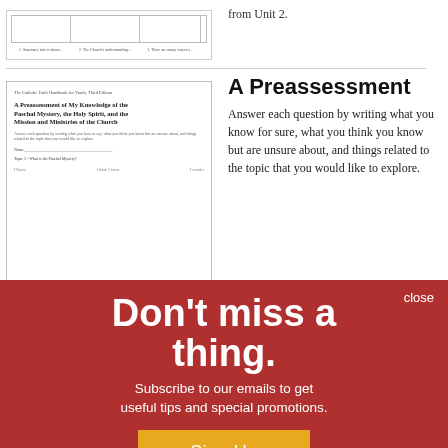[Figure (screenshot): Thumbnail of a table document from Unit 2 with column headers and rows]
from Unit 2.
[Figure (screenshot): Thumbnail of a preassessment worksheet titled 'A Preassessment of My Knowledge of the Paschal Mystery, the Holy Spirit, and the Mission and Ministries of the Church']
A Preassessment
Answer each question by writing what you know for sure, what you think you know but are unsure about, and things related to the topic that you would like to explore.
Don't miss a thing.
Subscribe to our emails to get useful tips and special promotions.
Sign Up
close